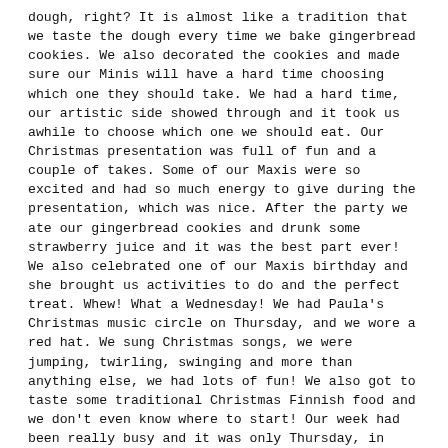dough, right? It is almost like a tradition that we taste the dough every time we bake gingerbread cookies. We also decorated the cookies and made sure our Minis will have a hard time choosing which one they should take. We had a hard time, our artistic side showed through and it took us awhile to choose which one we should eat. Our Christmas presentation was full of fun and a couple of takes. Some of our Maxis were so excited and had so much energy to give during the presentation, which was nice. After the party we ate our gingerbread cookies and drunk some strawberry juice and it was the best part ever! We also celebrated one of our Maxis birthday and she brought us activities to do and the perfect treat. Whew! What a Wednesday! We had Paula's Christmas music circle on Thursday, and we wore a red hat. We sung Christmas songs, we were jumping, twirling, swinging and more than anything else, we had lots of fun! We also got to taste some traditional Christmas Finnish food and we don't even know where to start! Our week had been really busy and it was only Thursday, in order to calm our busy minds and bodies, we decided to have a playday and ended our week with slowing down and playing because we are so good at it! For next week, we will have winter themed activities. With the coming holidays we hope you also take time to relax and slow down. Thank you for being part of our season and for accompanying us on our trip around the world, until next year. Happy Holidays!!!
MINIT –